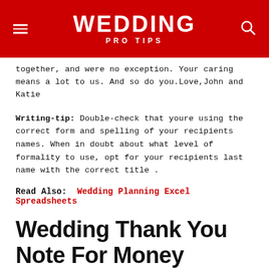WEDDING PRO TIPS
together, and were no exception. Your caring means a lot to us. And so do you.Love,John and Katie
Writing-tip: Double-check that youre using the correct form and spelling of your recipients names. When in doubt about what level of formality to use, opt for your recipients last name with the correct title .
Read Also: Wedding Planning Excel Spreadsheets
Wedding Thank You Note For Money
DEAR KEN & MARY,
WE WERE SO PLEASED THAT YOU COULD MAKE IT